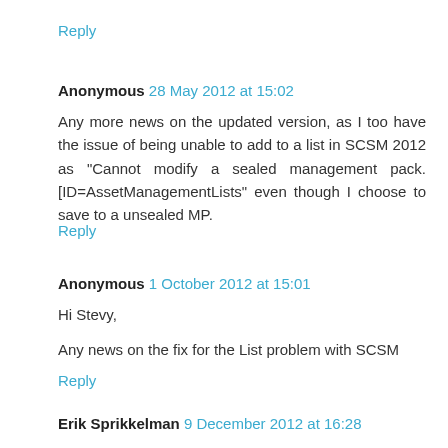Reply
Anonymous 28 May 2012 at 15:02
Any more news on the updated version, as I too have the issue of being unable to add to a list in SCSM 2012 as "Cannot modify a sealed management pack. [ID=AssetManagementLists" even though I choose to save to a unsealed MP.
Reply
Anonymous 1 October 2012 at 15:01
Hi Stevy,
Any news on the fix for the List problem with SCSM
Reply
Erik Sprikkelman 9 December 2012 at 16:28